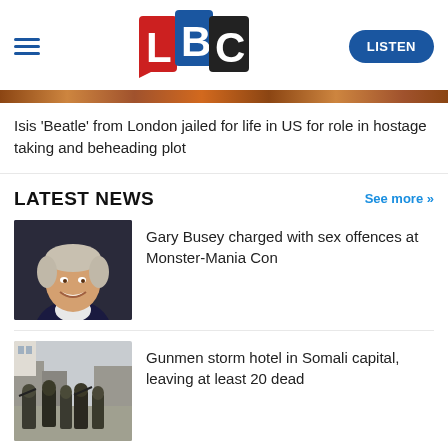LBC — LISTEN
[Figure (photo): LBC logo with red L, blue B, black C lettering on colored background tiles]
[Figure (illustration): Decorative banner strip with warm earthy/wood tones]
Isis 'Beatle' from London jailed for life in US for role in hostage taking and beheading plot
LATEST NEWS
See more >>
[Figure (photo): Gary Busey, a grey-haired man smiling, wearing a dark jacket over a white shirt]
Gary Busey charged with sex offences at Monster-Mania Con
[Figure (photo): Gunmen in military gear walking in a street in Somalia]
Gunmen storm hotel in Somali capital, leaving at least 20 dead